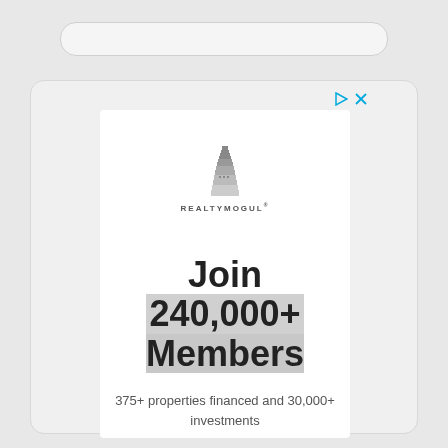[Figure (screenshot): Browser search bar placeholder at top of page]
[Figure (infographic): RealtyMogul advertisement panel showing logo, 'Join 240,000+ Members' headline, and '375+ properties financed and 30,000+ investments' subtext with play and close icons]